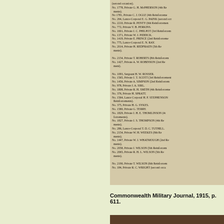[Figure (photo): Scanned page from Commonwealth Military Journal 1915 showing a list of military personnel with their numbers, ranks, and names. The text is partially cut off on the right side due to the book binding curve.]
Commonwealth Military Journal, 1915, p. 611.